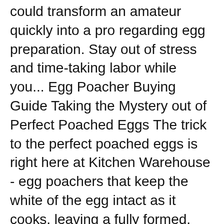could transform an amateur quickly into a pro regarding egg preparation. Stay out of stress and time-taking labor while you... Egg Poacher Buying Guide Taking the Mystery out of Perfect Poached Eggs The trick to the perfect poached eggs is right here at Kitchen Warehouse - egg poachers that keep the white of the egg intact as it cooks, leaving a fully formed, firm poached egg.
03.01.2019 · Heat resistant to 675 degrees can be used in boiled water or as a microwave egg poacher. The pod is quick and easy to use, the egg poacher just floats on top and you can remove it without any trouble. The package dimension of the pod is 5 x 3 x 2.5